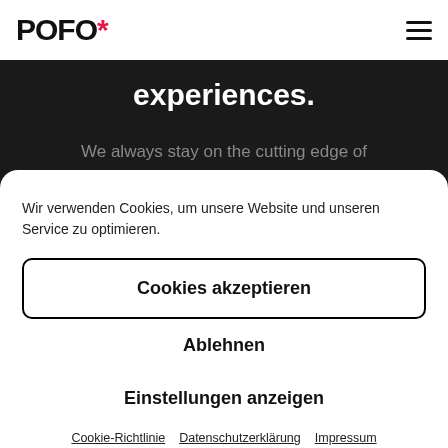POFO*
experiences.
We always stay on the cutting edge of
Wir verwenden Cookies, um unsere Website und unseren Service zu optimieren.
Cookies akzeptieren
Ablehnen
Einstellungen anzeigen
Cookie-Richtlinie  Datenschutzerklärung  Impressum